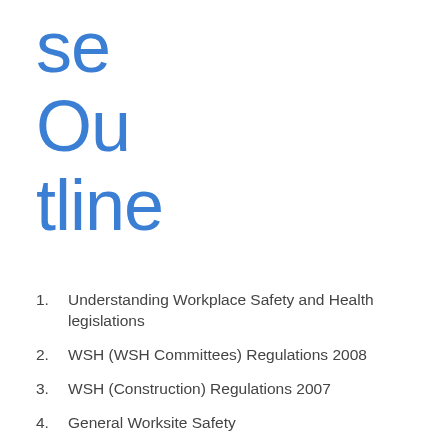se Outline
Understanding Workplace Safety and Health legislations
WSH (WSH Committees) Regulations 2008
WSH (Construction) Regulations 2007
General Worksite Safety
Mechanical Material Handling and Scaffold
Excavation, Tunnelling Work and Compressed Air Environment